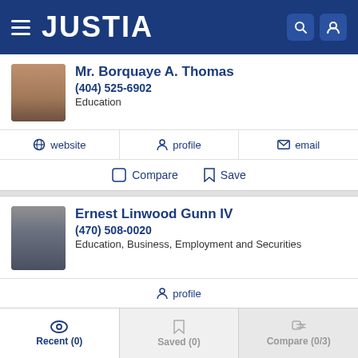JUSTIA
Mr. Borquaye A. Thomas
(404) 525-6902
Education
website  profile  email
Compare  Save
Ernest Linwood Gunn IV
(470) 508-0020
Education, Business, Employment and Securities
profile
Recent (0)  Saved (0)  Compare (0/3)